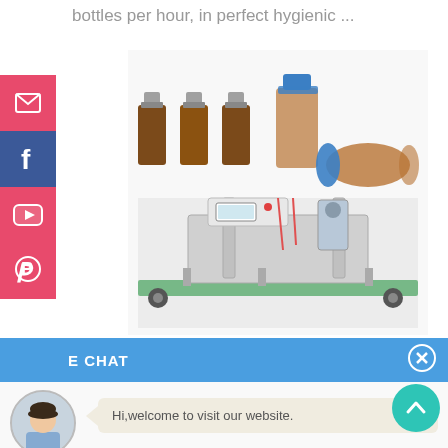bottles per hour, in perfect hygienic ...
[Figure (photo): Pharmaceutical amber glass bottles and vials (various sizes) shown in top row; automatic filling/capping machine shown in bottom row on a conveyor.]
E CHAT
[Figure (photo): Chat interface showing avatar of a female customer service representative named Cilina with greeting message: Hi,welcome to visit our website.]
Hi,welcome to visit our website.
Cilina